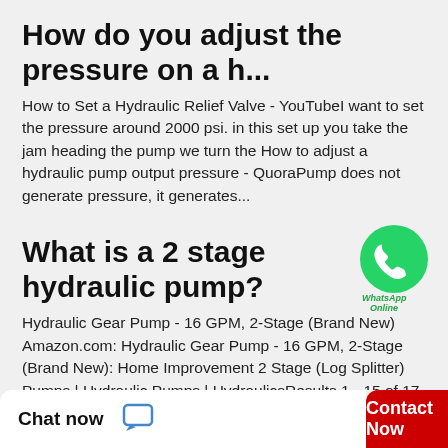How do you adjust the pressure on a h...
How to Set a Hydraulic Relief Valve - YouTubeI want to set the pressure around 2000 psi. in this set up you take the jam heading the pump we turn the How to adjust a hydraulic pump output pressure - QuoraPump does not generate pressure, it generates...
What is a 2 stage hydraulic pump?
[Figure (logo): WhatsApp green circular icon with phone handset, labeled WhatsApp Online]
Hydraulic Gear Pump - 16 GPM, 2-Stage (Brand New) Amazon.com: Hydraulic Gear Pump - 16 GPM, 2-Stage (Brand New): Home Improvement 2 Stage (Log Splitter) Pumps | Hydraulic Pumps | HydraulicsResults 1 - 15 of 17 — 2 Stage (Log Splitter)...
Which...
Chat now  Contact Now